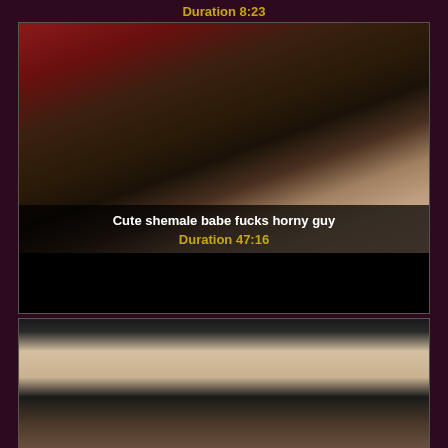Duration 8:23
[Figure (photo): Two people smiling together in a room with red curtains - a woman with dark hair and a man with glasses]
Cute shemale babe fucks horny guy
Duration 47:16
[Figure (photo): A bald man looking upward in a room]